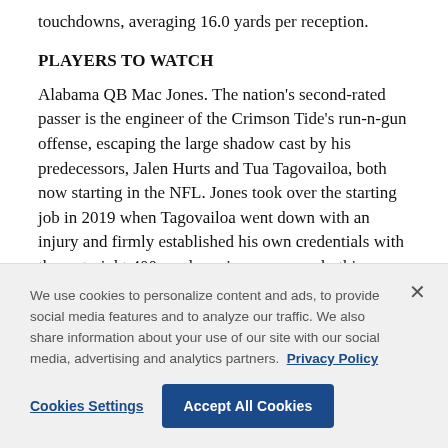touchdowns, averaging 16.0 yards per reception.
PLAYERS TO WATCH
Alabama QB Mac Jones. The nation's second-rated passer is the engineer of the Crimson Tide's run-n-gun offense, escaping the large shadow cast by his predecessors, Jalen Hurts and Tua Tagovailoa, both now starting in the NFL. Jones took over the starting job in 2019 when Tagovailoa went down with an injury and firmly established his own credentials with three straight 400-yard passing games early this season.
We use cookies to personalize content and ads, to provide social media features and to analyze our traffic. We also share information about your use of our site with our social media, advertising and analytics partners. Privacy Policy
Cookies Settings
Accept All Cookies